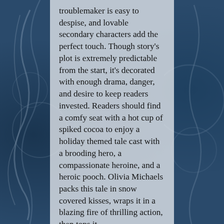troublemaker is easy to despise, and lovable secondary characters add the perfect touch. Though story's plot is extremely predictable from the start, it's decorated with enough drama, danger, and desire to keep readers invested. Readers should find a comfy seat with a hot cup of spiked cocoa to enjoy a holiday themed tale cast with a brooding hero, a compassionate heroine, and a heroic pooch. Olivia Michaels packs this tale in snow covered kisses, wraps it in a blazing fire of thrilling action, then tops it